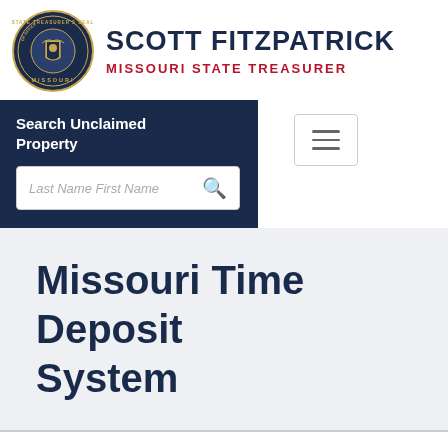[Figure (logo): Missouri State Treasurer's Seal of Office circular emblem in dark navy blue and gold, with state seal imagery]
Scott Fitzpatrick Missouri State Treasurer
Search Unclaimed Property
Last Name First Name [search icon]
[Figure (other): Hamburger menu button with three horizontal lines]
Missouri Time Deposit System